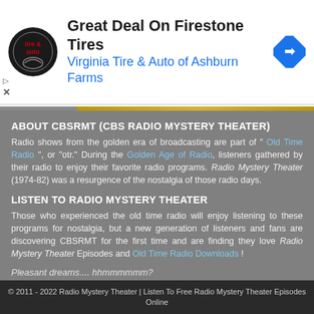[Figure (screenshot): Advertisement banner for Virginia Tire & Auto of Ashburn Farms featuring Firestone Tires deal, with circular logo on left and navigation icon on right]
ABOUT CBSRMT (CBS RADIO MYSTERY THEATER)
Radio shows from the golden era of broadcasting are part of " Old Time Radio ", or "otr." During the Golden Age of Radio, listeners gathered by their radio to enjoy their favorite radio programs. Radio Mystery Theater (1974-82) was a resurgence of the nostalgia of those radio days.
LISTEN TO RADIO MYSTERY THEATER
Those who experienced the old time radio will enjoy listening to these programs for nostalgia, but a new generation of listeners and fans are discovering CBSRMT for the first time and are finding they love Radio Mystery Theater Episodes and Old Time Radio Downloads !
Pleasant dreams.... hhmmmmmm?
© 2011 - 2022 Radio Mystery Theater | Listen To Free Radio Mystery Theater Episodes Online